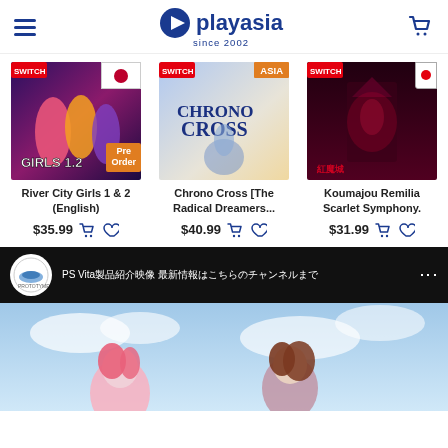playasia since 2002
[Figure (screenshot): River City Girls 1 & 2 game cover with Japan flag badge and Pre Order badge]
River City Girls 1 & 2 (English)
$35.99
[Figure (screenshot): Chrono Cross The Radical Dreamers game cover with ASIA badge]
Chrono Cross [The Radical Dreamers...
$40.99
[Figure (screenshot): Koumajou Remilia Scarlet Symphony game cover]
Koumajou Remilia Scarlet Symphony.
$31.99
[Figure (screenshot): Video thumbnail showing PS Vita game with anime girls, dark bar with proto logo and Japanese text title]